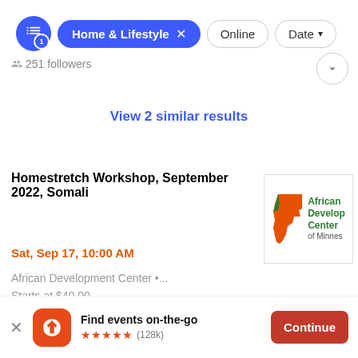[Figure (screenshot): Filter bar with active 'Home & Lifestyle' chip, 'Online' chip, and 'Date' dropdown chip]
251 followers
View 2 similar results
Homestretch Workshop, September 2022, Somali
Sat, Sep 17, 10:00 AM
African Development Center •...
Starts at $40.00
[Figure (logo): African Development Center of Minnesota logo - orange Minnesota map shape with green text]
African Develop...
Find events on-the-go
★★★★★ (128k)
Continue